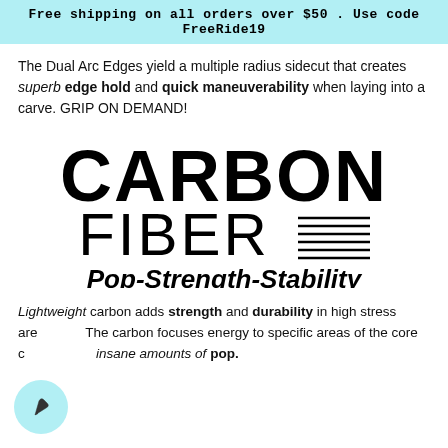Free shipping on all orders over $50 . Use code FreeRide19
The Dual Arc Edges yield a multiple radius sidecut that creates superb edge hold and quick maneuverability when laying into a carve. GRIP ON DEMAND!
[Figure (logo): CARBON FIBER logo with horizontal lines next to FIBER text, and tagline Pop-Strength-Stability in italic bold]
Lightweight carbon adds strength and durability in high stress areas. The carbon focuses energy to specific areas of the core creating insane amounts of pop.